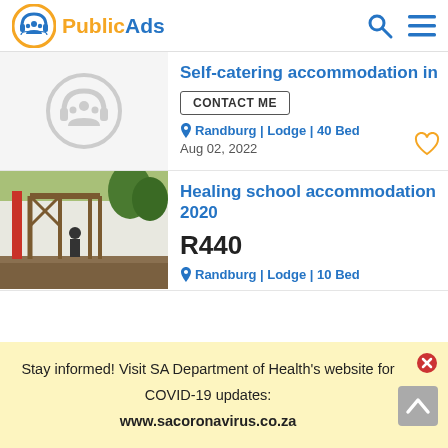PublicAds
Self-catering accommodation in
CONTACT ME
Randburg | Lodge | 40 Bed
Aug 02, 2022
Healing school accommodation 2020
R440
Randburg | Lodge | 10 Bed
Stay informed! Visit SA Department of Health's website for COVID-19 updates: www.sacoronavirus.co.za